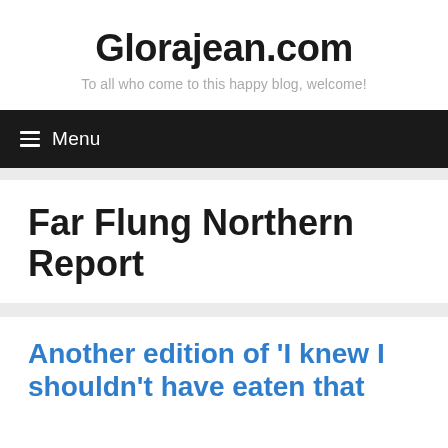Glorajean.com
To all who come to this happy blog, welcome!
≡ Menu
Far Flung Northern Report
Another edition of 'I knew I shouldn't have eaten that